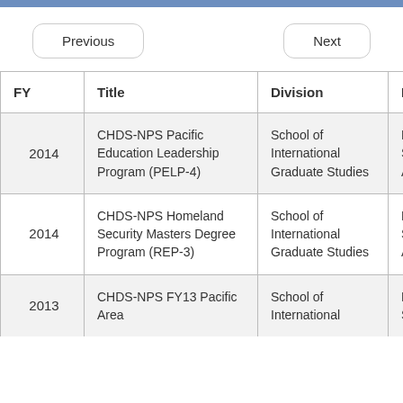[Figure (screenshot): Top navigation bar with blue/grey color strip]
| FY | Title | Division | Department |
| --- | --- | --- | --- |
| 2014 | CHDS-NPS Pacific Education Leadership Program (PELP-4) | School of International Graduate Studies | National Security Affairs |
| 2014 | CHDS-NPS Homeland Security Masters Degree Program (REP-3) | School of International Graduate Studies | National Security Affairs |
| 2013 | CHDS-NPS FY13 Pacific Area | School of International | National Security |